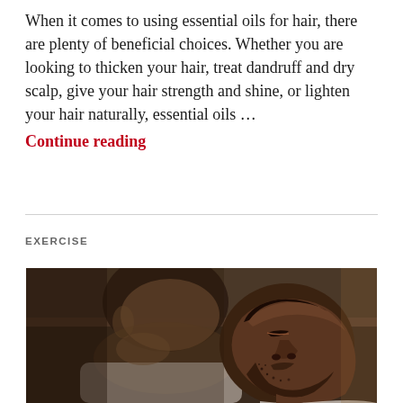When it comes to using essential oils for hair, there are plenty of beneficial choices. Whether you are looking to thicken your hair, treat dandruff and dry scalp, give your hair strength and shine, or lighten your hair naturally, essential oils … Continue reading
EXERCISE
[Figure (photo): Two men lying down resting or sleeping, photographed from above at an angle. One man in foreground is dark-skinned and has a beard; visible in close-up profile view looking upward. A second man is visible in the background, blurred.]